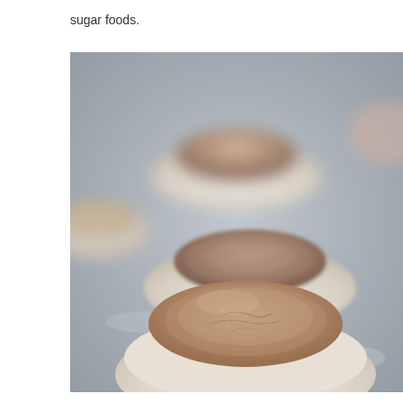sugar foods.
[Figure (photo): Close-up photograph of snickerdoodle cookies dusted with cinnamon sugar on a baking sheet. The foreground cookie is in sharp focus showing a round, puffy cookie with a cinnamon-sugar coated top, while cookies in the background are slightly blurred.]